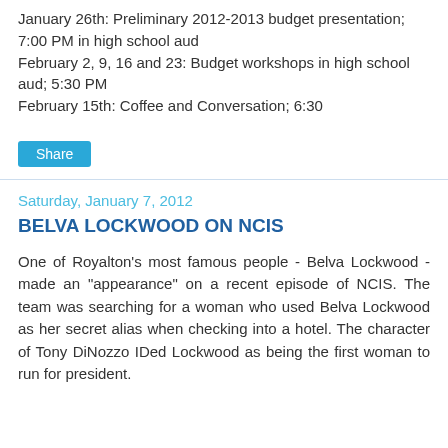January 26th: Preliminary 2012-2013 budget presentation; 7:00 PM in high school aud
February 2, 9, 16 and 23: Budget workshops in high school aud; 5:30 PM
February 15th: Coffee and Conversation; 6:30
Share
Saturday, January 7, 2012
BELVA LOCKWOOD ON NCIS
One of Royalton's most famous people - Belva Lockwood - made an "appearance" on a recent episode of NCIS. The team was searching for a woman who used Belva Lockwood as her secret alias when checking into a hotel. The character of Tony DiNozzo IDed Lockwood as being the first woman to run for president.